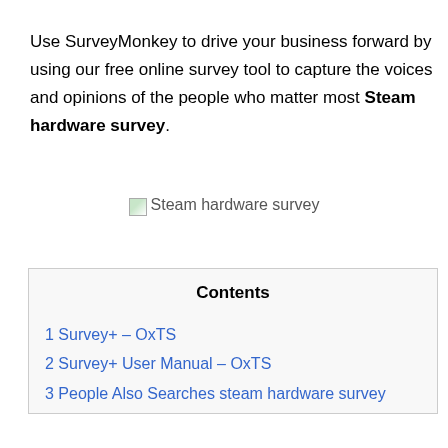Use SurveyMonkey to drive your business forward by using our free online survey tool to capture the voices and opinions of the people who matter most Steam hardware survey.
[Figure (illustration): Broken/missing image placeholder with alt text 'Steam hardware survey']
| Contents |
| --- |
| 1 Survey+ – OxTS |
| 2 Survey+ User Manual – OxTS |
| 3 People Also Searches steam hardware survey |